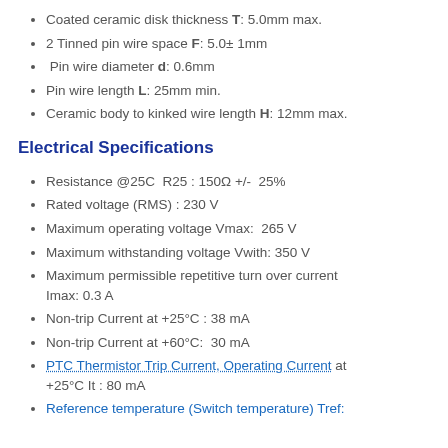Coated ceramic disk thickness T: 5.0mm max.
2 Tinned pin wire space F: 5.0± 1mm
Pin wire diameter d: 0.6mm
Pin wire length L: 25mm min.
Ceramic body to kinked wire length H: 12mm max.
Electrical Specifications
Resistance @25C  R25 : 150Ω +/-  25%
Rated voltage (RMS) : 230 V
Maximum operating voltage Vmax:  265 V
Maximum withstanding voltage Vwith: 350 V
Maximum permissible repetitive turn over current Imax: 0.3 A
Non-trip Current at +25°C : 38 mA
Non-trip Current at +60°C:  30 mA
PTC Thermistor Trip Current, Operating Current at +25°C It : 80 mA
Reference temperature (Switch temperature) Tref: